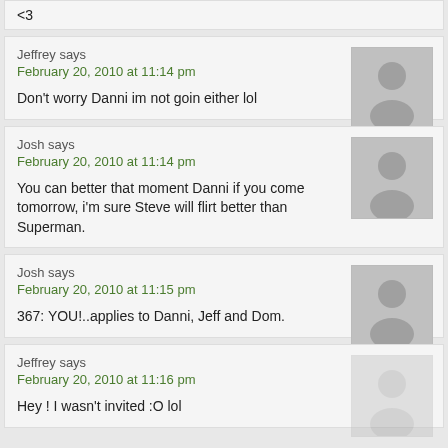<3
Jeffrey says
February 20, 2010 at 11:14 pm

Don't worry Danni im not goin either lol
Josh says
February 20, 2010 at 11:14 pm

You can better that moment Danni if you come tomorrow, i'm sure Steve will flirt better than Superman.
Josh says
February 20, 2010 at 11:15 pm

367: YOU!..applies to Danni, Jeff and Dom.
Jeffrey says
February 20, 2010 at 11:16 pm

Hey ! I wasn't invited :O lol